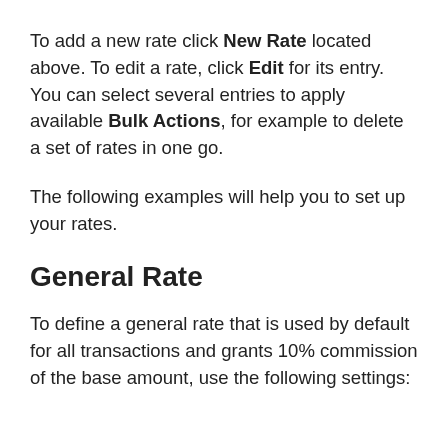To add a new rate click New Rate located above. To edit a rate, click Edit for its entry. You can select several entries to apply available Bulk Actions, for example to delete a set of rates in one go.
The following examples will help you to set up your rates.
General Rate
To define a general rate that is used by default for all transactions and grants 10% commission of the base amount, use the following settings: